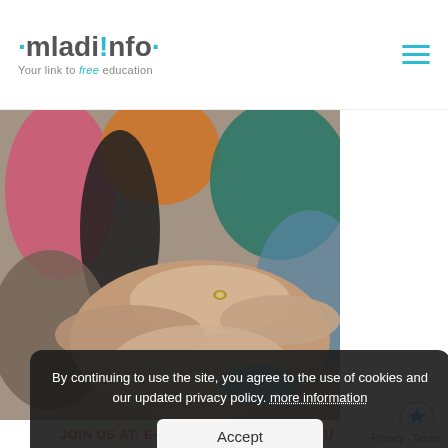mladi!nfo · Your link to free education
[Figure (photo): Multiple hands of people wearing colorful sweaters (pink, orange, teal, blue) stacked together in a unity or teamwork gesture, some wearing rings]
By continuing to use the site, you agree to the use of cookies and our updated privacy policy. more information
Accept
Privacy - Terms
JOIN US AT: E-PARTICIPATIONYOUTH.EU